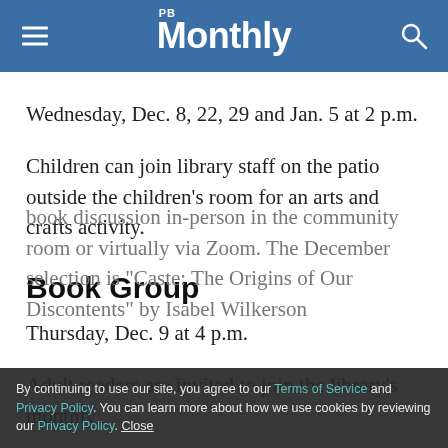PB Monthly
Wednesday, Dec. 8, 22, 29 and Jan. 5 at 2 p.m.
Children can join library staff on the patio outside the children’s room for an arts and crafts activity.
Book Group
Thursday, Dec. 9 at 4 p.m.
Adult readers are invited to join the library’s monthly book discussion in-person in the community room or virtually via Zoom. The December selection is “Caste: The Origins of Our Discontents” by Isabel Wilkerson
By continuing to use our site, you agree to our Terms of Service and Privacy Policy. You can learn more about how we use cookies by reviewing our Privacy Policy. Close